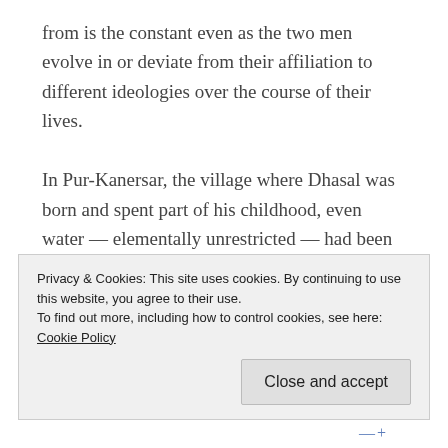from is the constant even as the two men evolve in or deviate from their affiliation to different ideologies over the course of their lives.

In Pur-Kanersar, the village where Dhasal was born and spent part of his childhood, even water — elementally unrestricted — had been divided. The up-river portion of a small river that ran through the village was the exclusive reserve of the privileged castes while the village's oppressed untouchables were allowed to draw water from only the down-river part.
Privacy & Cookies: This site uses cookies. By continuing to use this website, you agree to their use.
To find out more, including how to control cookies, see here: Cookie Policy

Close and accept